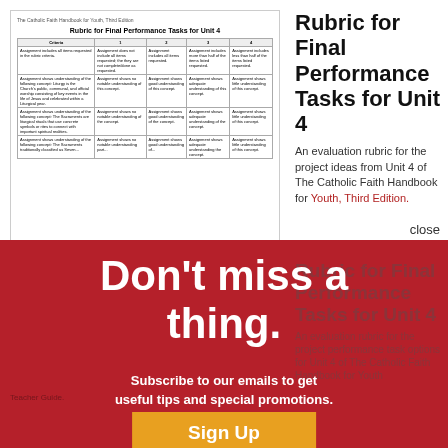[Figure (screenshot): Thumbnail of a document page showing 'Rubric for Final Performance Tasks for Unit 4' with a table grid containing criteria rows and columns.]
Rubric for Final Performance Tasks for Unit 4
An evaluation rubric for the project ideas from Unit 4 of The Catholic Faith Handbook for Youth, Third Edition.
close
Don't miss a thing.
Subscribe to our emails to get useful tips and special promotions.
Sign Up